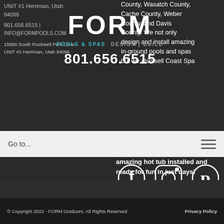UNIT #1 Herriman, Utah 84096
[Figure (logo): FORM Pools & Spas Design | Build logo with phone number 801.656.6515]
County, Wasatch County, Cache County, Weber County, and Davis County. We not only design and install amazing in-ground pools and spas but we also sell Coast Spa
801.656.6515 | INFO@FORMPOOLS.COM
15856 South Rockwell Park Cove UNIT #1 Herriman, Utah 84096
Go to...
amazing hot tub installed and ready for fun in just days!
[Figure (infographic): Social media icons: Facebook, Instagram, Pinterest, Houzz, YouTube]
© Copyright 2022 - FORM Outdoors. All Rights Reserved   Privacy Policy